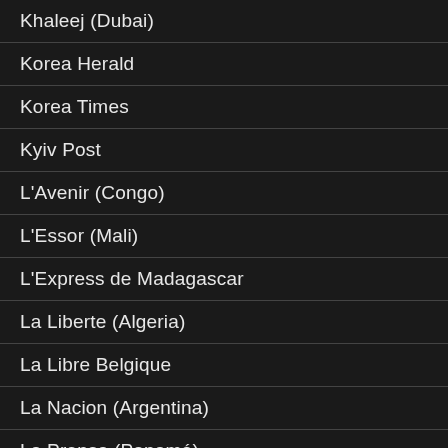Khaleej (Dubai)
Korea Herald
Korea Times
Kyiv Post
L'Avenir (Congo)
L'Essor (Mali)
L'Express de Madagascar
La Liberte (Algeria)
La Libre Belgique
La Nacion (Argentina)
La Prensa (Panamá)
La Presse (QC)
La Repubblica (IT)